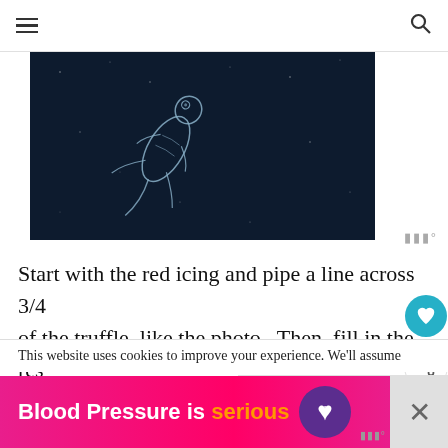[Figure (illustration): Dark navy background with white speckles like stars; outline illustration of a lizard or gecko in white/light gray line art, positioned diagonally in center]
Start with the red icing and pipe a line across 3/4 of the truffle, like the photo. Then, fill in the rest of the 3/4 of the body. You'll leave 1/4 of the truffle exposed for the ladybug “head.”
This website uses cookies to improve your experience. We'll assume
[Figure (infographic): Blood Pressure is serious advertisement banner in hot pink/magenta with bold white and orange text and a purple heart icon]